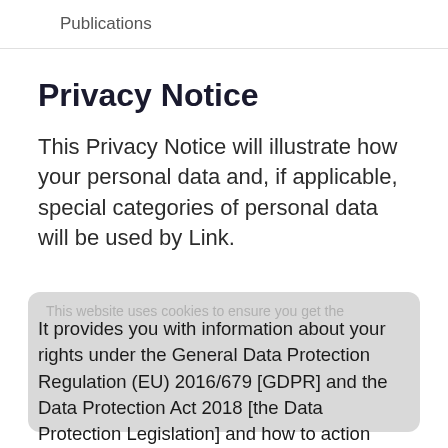Publications
Privacy Notice
This Privacy Notice will illustrate how your personal data and, if applicable, special categories of personal data will be used by Link.
This website uses cookies to ensure you get the
It provides you with information about your rights under the General Data Protection Regulation (EU) 2016/679 [GDPR] and the Data Protection Act 2018 [the Data Protection Legislation] and how to action these rights.